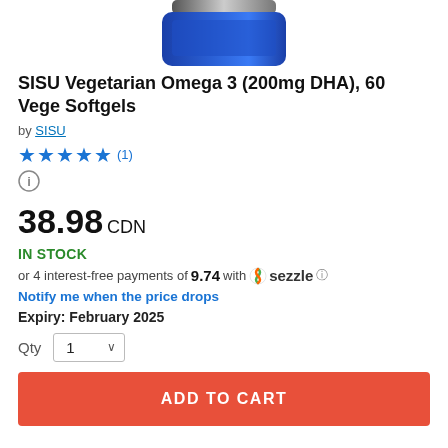[Figure (photo): Bottom portion of a blue SISU supplement bottle visible at the top of the page]
SISU Vegetarian Omega 3 (200mg DHA), 60 Vege Softgels
by SISU
★★★★★ (1)
38.98 CDN
IN STOCK
or 4 interest-free payments of 9.74 with sezzle ⓘ
Notify me when the price drops
Expiry: February 2025
Qty 1
ADD TO CART